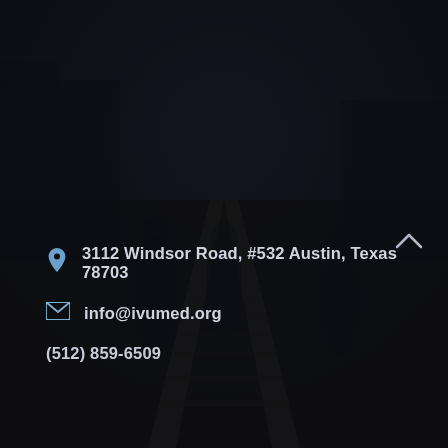[Figure (photo): Dark, dimly lit photograph of railway tracks receding into the distance, with blurred silhouettes of people walking beside the tracks. The image has a dark overlay giving it a moody, near-black appearance.]
3112 Windsor Road, #532 Austin, Texas 78703
info@ivumed.org
(512) 859-6509